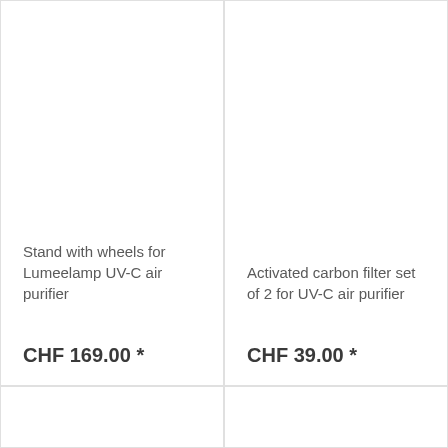Stand with wheels for Lumeelamp UV-C air purifier
CHF 169.00 *
Activated carbon filter set of 2 for UV-C air purifier
CHF 39.00 *